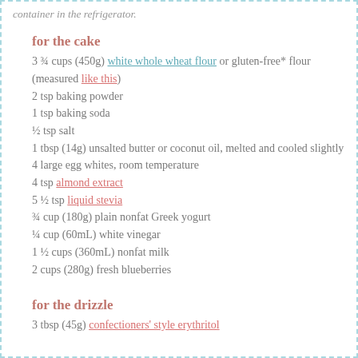container in the refrigerator.
for the cake
3 ¾ cups (450g) white whole wheat flour or gluten-free* flour (measured like this)
2 tsp baking powder
1 tsp baking soda
½ tsp salt
1 tbsp (14g) unsalted butter or coconut oil, melted and cooled slightly
4 large egg whites, room temperature
4 tsp almond extract
5 ½ tsp liquid stevia
¾ cup (180g) plain nonfat Greek yogurt
¼ cup (60mL) white vinegar
1 ½ cups (360mL) nonfat milk
2 cups (280g) fresh blueberries
for the drizzle
3 tbsp (45g) confectioners' style erythritol